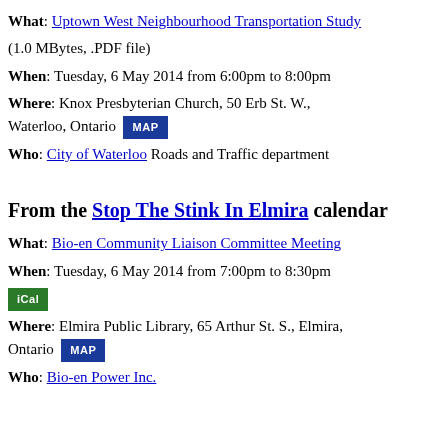What: Uptown West Neighbourhood Transportation Study (1.0 MBytes, .PDF file)
When: Tuesday, 6 May 2014 from 6:00pm to 8:00pm
Where: Knox Presbyterian Church, 50 Erb St. W., Waterloo, Ontario [MAP]
Who: City of Waterloo Roads and Traffic department
From the Stop The Stink In Elmira calendar
What: Bio-en Community Liaison Committee Meeting
When: Tuesday, 6 May 2014 from 7:00pm to 8:30pm
[Figure (other): iCal button]
Where: Elmira Public Library, 65 Arthur St. S., Elmira, Ontario [MAP]
Who: Bio-en Power Inc.